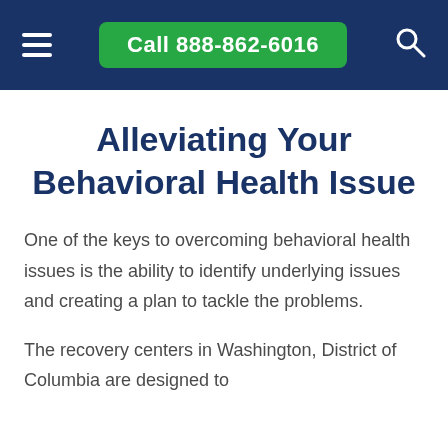Call 888-862-6016
Alleviating Your Behavioral Health Issue
One of the keys to overcoming behavioral health issues is the ability to identify underlying issues and creating a plan to tackle the problems.
The recovery centers in Washington, District of Columbia are designed to